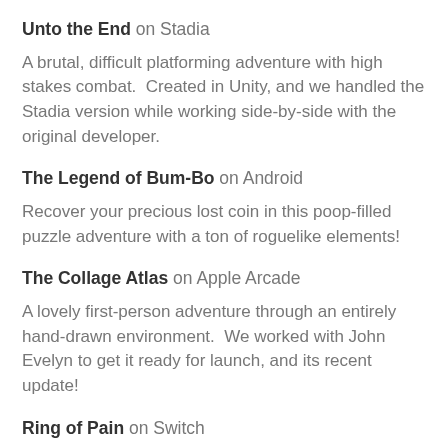Unto the End on Stadia
A brutal, difficult platforming adventure with high stakes combat.  Created in Unity, and we handled the Stadia version while working side-by-side with the original developer.
The Legend of Bum-Bo on Android
Recover your precious lost coin in this poop-filled puzzle adventure with a ton of roguelike elements!
The Collage Atlas on Apple Arcade
A lovely first-person adventure through an entirely hand-drawn environment.  We worked with John Evelyn to get it ready for launch, and its recent update!
Ring of Pain on Switch
An strategic card game with very unique gameplay.